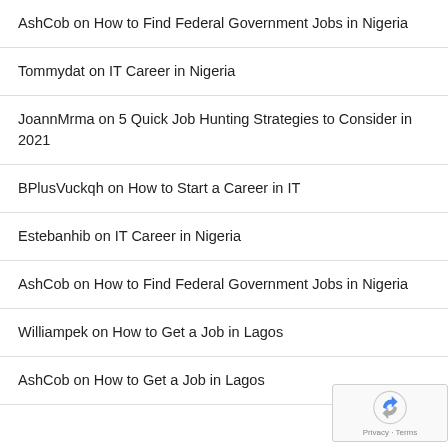AshCob on How to Find Federal Government Jobs in Nigeria
Tommydat on IT Career in Nigeria
JoannMrma on 5 Quick Job Hunting Strategies to Consider in 2021
BPlusVuckqh on How to Start a Career in IT
Estebanhib on IT Career in Nigeria
AshCob on How to Find Federal Government Jobs in Nigeria
Williampek on How to Get a Job in Lagos
AshCob on How to Get a Job in Lagos